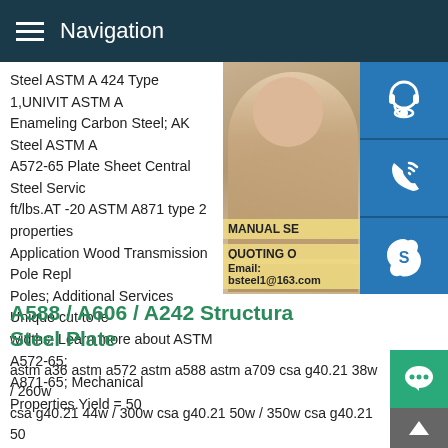Navigation
Steel ASTM A 424 Type 1,UNIVIT ASTM A Enameling Carbon Steel; AK Steel ASTM A A572-65 Plate Sheet Central Steel Service ft/lbs.AT -20 ASTM A871 type 2 properties Application Wood Transmission Pole Repl Poles; Additional Services Unique cut to le widths; Learn more about ASTM A572-65; A871-65; Mechanical Properties.Yield = 50
[Figure (photo): Customer service representative woman with headset, with blue icon buttons for support, phone, and Skype on the right side. Overlaid text: MANUAL SE, QUOTING O, Email: bsteel1@163.com]
A588 / A606 / A242 Structural Steel Plate
astm a36 astm a572 astm a588 astm a709 csa g40.21 38w / 260w csa g40.21 44w / 300w csa g40.21 50w / 350w csa g40.21 50 350a astm a656 astm a830 aisi 1045 Alloy Abrasion Resistant Steel Plate AR235 / AR200 / AR Medium AR400F AR450F AR AR400 Flat Bars ASTM A514 ASTM A829 AISI 4130/AISI 4140